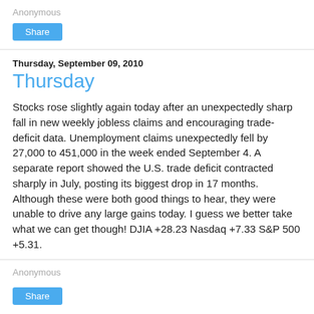Anonymous
Share
Thursday, September 09, 2010
Thursday
Stocks rose slightly again today after an unexpectedly sharp fall in new weekly jobless claims and encouraging trade-deficit data. Unemployment claims unexpectedly fell by 27,000 to 451,000 in the week ended September 4. A separate report showed the U.S. trade deficit contracted sharply in July, posting its biggest drop in 17 months. Although these were both good things to hear, they were unable to drive any large gains today. I guess we better take what we can get though! DJIA +28.23 Nasdaq +7.33 S&P 500 +5.31.
Anonymous
Share